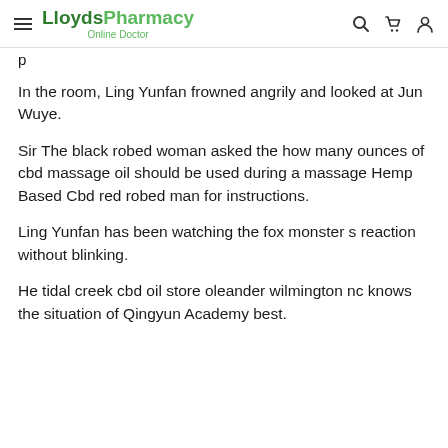LloydsPharmacy Online Doctor
In the room, Ling Yunfan frowned angrily and looked at Jun Wuye.
Sir The black robed woman asked the how many ounces of cbd massage oil should be used during a massage Hemp Based Cbd red robed man for instructions.
Ling Yunfan has been watching the fox monster s reaction without blinking.
He tidal creek cbd oil store oleander wilmington nc knows the situation of Qingyun Academy best.